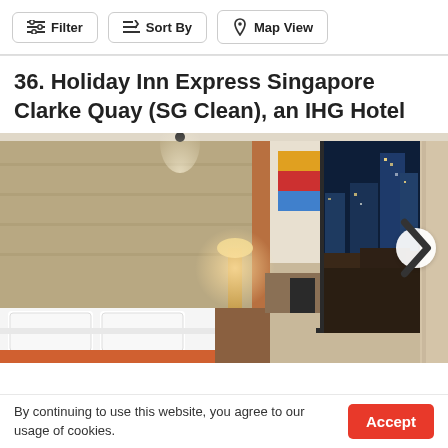Filter | Sort By | Map View
36. Holiday Inn Express Singapore Clarke Quay (SG Clean), an IHG Hotel
[Figure (photo): Hotel room interior showing a neatly made double bed with white linens and orange accent, a tall padded headboard, a colorful painting on the wall, a bedside lamp, a desk with chair, and large floor-to-ceiling windows revealing a nighttime city skyline with illuminated skyscrapers and buildings.]
By continuing to use this website, you agree to our usage of cookies.